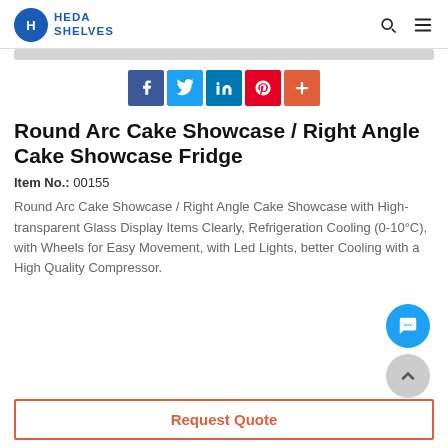HEDA SHELVES
[Figure (other): Social share buttons: Facebook, Twitter, LinkedIn, Pinterest, More (+)]
Round Arc Cake Showcase / Right Angle Cake Showcase Fridge
Item No.: 00155
Round Arc Cake Showcase / Right Angle Cake Showcase with High-transparent Glass Display Items Clearly, Refrigeration Cooling (0-10°C), with Wheels for Easy Movement, with Led Lights, better Cooling with a High Quality Compressor.
Request Quote